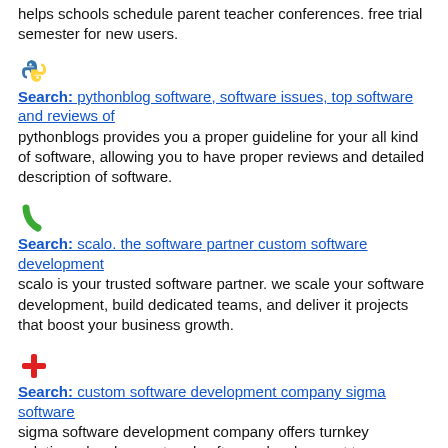helps schools schedule parent teacher conferences. free trial semester for new users.
Search: pythonblog software, software issues, top software and reviews of
pythonblogs provides you a proper guideline for your all kind of software, allowing you to have proper reviews and detailed description of software.
Search: scalo. the software partner custom software development
scalo is your trusted software partner. we scale your software development, build dedicated teams, and deliver it projects that boost your business growth.
Search: custom software development company sigma software
sigma software development company offers turnkey solutions development and software development teams. learn how our 1300+ software experts can support a project.
Search: bitworks software custom software development company